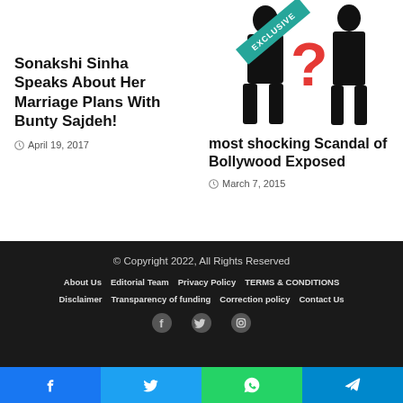Sonakshi Sinha Speaks About Her Marriage Plans With Bunty Sajdeh!
April 19, 2017
[Figure (photo): Silhouette image of two figures with a red question mark and EXCLUSIVE banner]
most shocking Scandal of Bollywood Exposed
March 7, 2015
© Copyright 2022, All Rights Reserved
About Us  Editorial Team  Privacy Policy  TERMS & CONDITIONS
Disclaimer  Transparency of funding  Correction policy  Contact Us
[Figure (infographic): Social media share buttons: Facebook, Twitter, WhatsApp, Telegram]